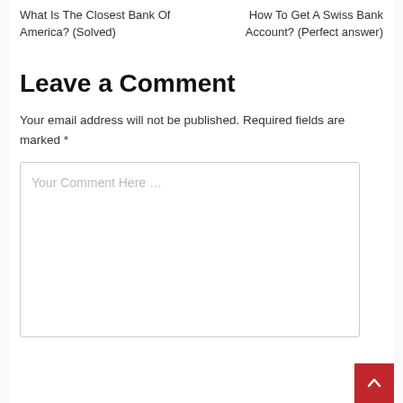What Is The Closest Bank Of America? (Solved)
How To Get A Swiss Bank Account? (Perfect answer)
Leave a Comment
Your email address will not be published. Required fields are marked *
Your Comment Here ...